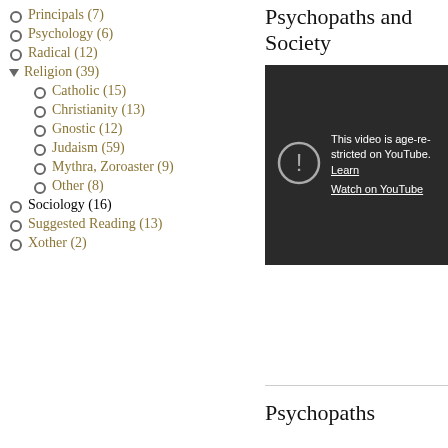Principals (7)
Psychology (6)
Radical (12)
Religion (39)
Catholic (15)
Christianity (13)
Gnostic (12)
Judaism (59)
Mythra, Zoroaster (9)
Other (8)
Sociology (16)
Suggested Reading (13)
Xother (2)
Psychopaths and Society
[Figure (screenshot): YouTube age-restricted video placeholder showing warning icon and text: 'This video is age-restricted on YouTube. Learn more. Watch on YouTube']
Psychopaths